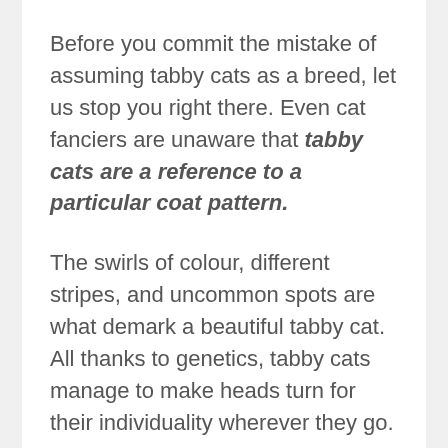Before you commit the mistake of assuming tabby cats as a breed, let us stop you right there. Even cat fanciers are unaware that tabby cats are a reference to a particular coat pattern.
The swirls of colour, different stripes, and uncommon spots are what demark a beautiful tabby cat. All thanks to genetics, tabby cats manage to make heads turn for their individuality wherever they go.
These tabby cats are far from ordinary. Want to know why? Let's help you